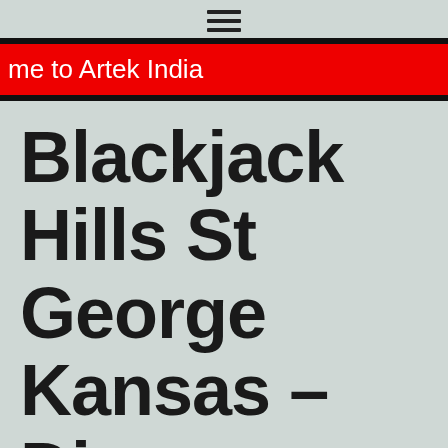≡
me to Artek India
Blackjack Hills St George Kansas – Discover the most played